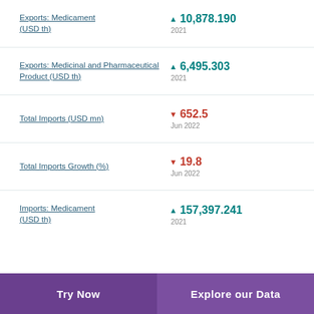Exports: Medicament (USD th)
Exports: Medicinal and Pharmaceutical Product (USD th)
Total Imports (USD mn)
Total Imports Growth (%)
Imports: Medicament (USD th)
Try Now | Explore our Data